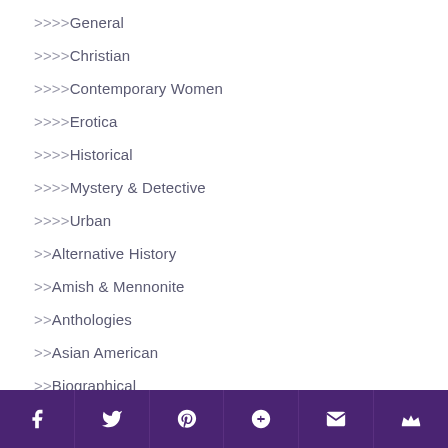>>>>General
>>>>Christian
>>>>Contemporary Women
>>>>Erotica
>>>>Historical
>>>>Mystery & Detective
>>>>Urban
>>Alternative History
>>Amish & Mennonite
>>Anthologies
>>Asian American
>>Biographical
>>Black Humor
Social share icons: Facebook, Twitter, Pinterest, Google+, Email, Crown